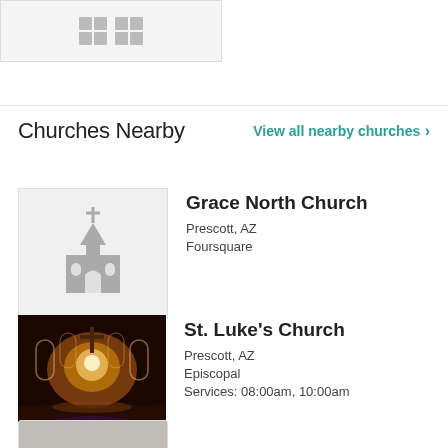[Figure (other): Partial grid/thumbnail image strip at the top of the page]
Churches Nearby
View all nearby churches ›
[Figure (illustration): Placeholder church icon graphic (gray church building silhouette)]
Grace North Church
Prescott, AZ
Foursquare
[Figure (photo): Interior photo of St. Luke's Church showing lit altar and arched windows]
St. Luke's Church
Prescott, AZ
Episcopal
Services: 08:00am, 10:00am
[Figure (photo): Partial thumbnail of a third church listing at the bottom edge]